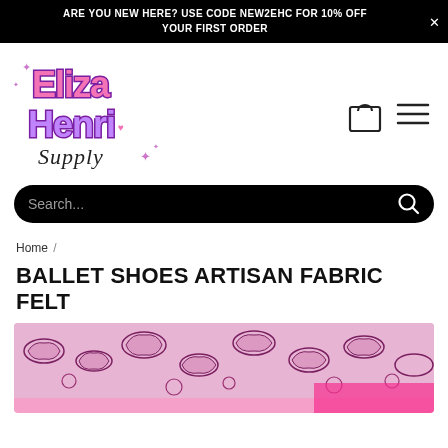ARE YOU NEW HERE? USE CODE NEW2EHC FOR 10% OFF YOUR FIRST ORDER
[Figure (logo): Eliza Henri Supply logo — colorful bubble-letter text in pink and purple with sparkle accents]
Search...
Home /
BALLET SHOES ARTISAN FABRIC FELT
[Figure (photo): Close-up of ballet shoes artisan fabric felt in pink with dark outline/floral ballet shoe pattern]